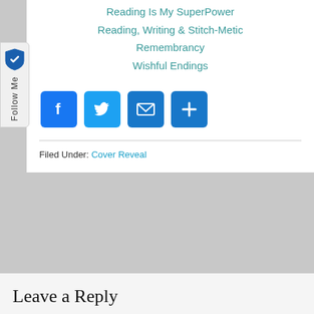Reading Is My SuperPower
Reading, Writing & Stitch-Metic
Remembrancy
Wishful Endings
[Figure (infographic): Social sharing icons: Facebook, Twitter, Email, and a plus/more button, each as blue rounded squares]
Filed Under: Cover Reveal
Leave a Reply
Your email address will not be published. Required fields are marked *